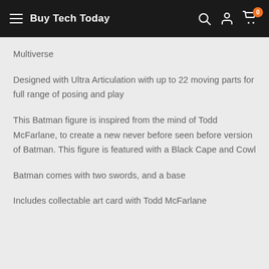Buy Tech Today
Multiverse
Designed with Ultra Articulation with up to 22 moving parts for full range of posing and play
This Batman figure is inspired from the mind of Todd McFarlane, to create a new never before seen before version of Batman. This figure is featured with a Black Cape and Cowl
Batman comes with two swords, and a base
Includes collectable art card with Todd McFarlane